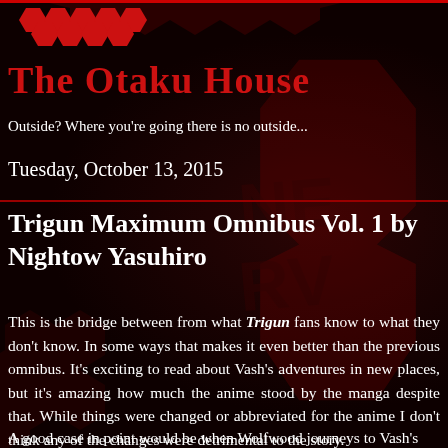The Otaku House
Outside? Where you're going there is no outside...
Tuesday, October 13, 2015
Trigun Maximum Omnibus Vol. 1 by Nightow Yasuhiro
This is the bridge between from what Trigun fans know to what they don't know. In some ways that makes it even better than the previous omnibus. It's exciting to read about Vash's adventures in new places, but it's amazing how much the anime stood by the manga despite that. While things were changed or abbreviated for the anime I don't think any of the changes were detrimental to the story.
A good case in point would be when Wolfwood journeys to Vash's